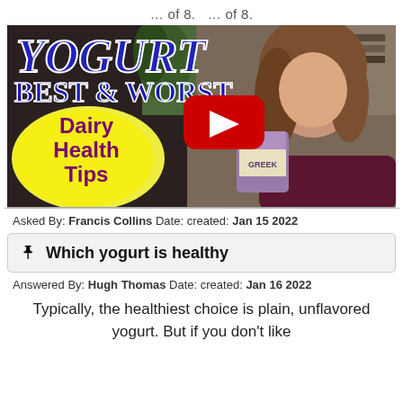… of 8.  … of 8.
[Figure (screenshot): YouTube video thumbnail for 'Yogurt Best & Worst – Dairy Health Tips'. Shows a woman holding a Greek yogurt container with a YouTube play button overlay. Large blue italic text reads 'YOGURT BEST & WORST'. Yellow bubble on left reads 'Dairy Health Tips' in purple.]
Asked By: Francis Collins Date: created: Jan 15 2022
Which yogurt is healthy
Answered By: Hugh Thomas Date: created: Jan 16 2022
Typically, the healthiest choice is plain, unflavored yogurt. But if you don't like